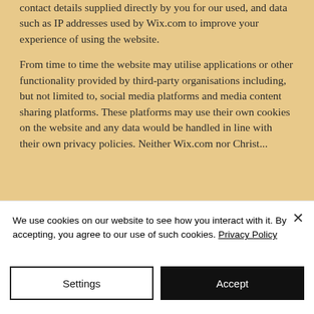contact details supplied directly by you for our used, and data such as IP addresses used by Wix.com to improve your experience of using the website.
From time to time the website may utilise applications or other functionality provided by third-party organisations including, but not limited to, social media platforms and media content sharing platforms. These platforms may use their own cookies on the website and any data would be handled in line with their own privacy policies. Neither Wix.com nor Christ...
We use cookies on our website to see how you interact with it. By accepting, you agree to our use of such cookies. Privacy Policy
Settings
Accept